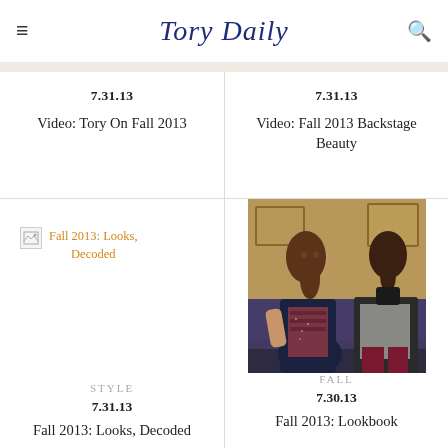Tory Daily
7.31.13
Video: Tory On Fall 2013
7.31.13
Video: Fall 2013 Backstage Beauty
[Figure (photo): Broken image placeholder for Fall 2013: Looks, Decoded article]
Fall 2013: Looks, Decoded
[Figure (photo): Two female models sitting together wearing Tory Burch Fall 2013 fashion — dark blazers, patterned dress, burgundy tights]
STYLE
7.31.13
Fall 2013: Looks, Decoded
FALL
7.30.13
Fall 2013: Lookbook